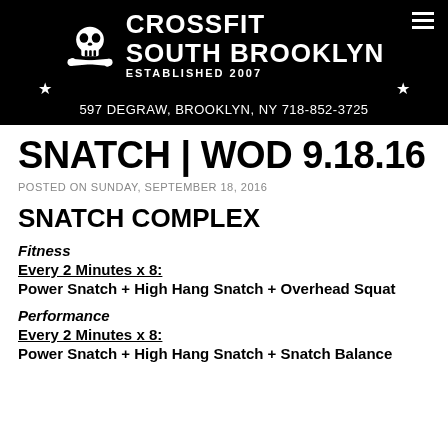CROSSFIT SOUTH BROOKLYN — ESTABLISHED 2007 — 597 DEGRAW, BROOKLYN, NY 718-852-3725
SNATCH | WOD 9.18.16
POSTED ON SUNDAY, SEPTEMBER 18, 2016
SNATCH COMPLEX
Fitness
Every 2 Minutes x 8:
Power Snatch + High Hang Snatch + Overhead Squat
Performance
Every 2 Minutes x 8:
Power Snatch + High Hang Snatch + Snatch Balance